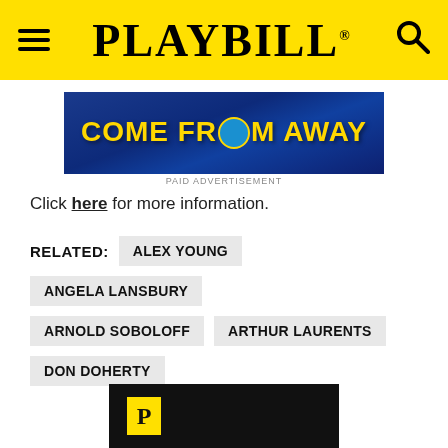PLAYBILL
[Figure (photo): Come From Away advertisement banner with yellow text on blue background]
PAID ADVERTISEMENT
Click here for more information.
RELATED: ALEX YOUNG  ANGELA LANSBURY  ARNOLD SOBOLOFF  ARTHUR LAURENTS  DON DOHERTY
[Figure (logo): Playbill logo - yellow P box on black background]